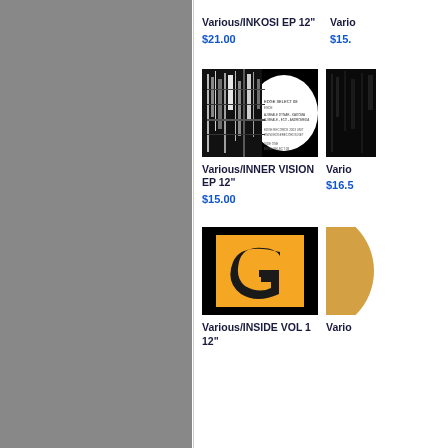[Figure (other): Grey sidebar panel]
Various/INKOSI EP 12"
$21.00
Various/
$15.
[Figure (photo): Record sleeve for INNER VISION EP showing black and white abstract graphic with circular label]
[Figure (photo): Partially visible dark record sleeve on right side]
Various/INNER VISION EP 12"
$15.00
Vario
$16.5
[Figure (logo): Record sleeve for INSIDE VOL 1 12" showing orange background with large stylized G logo in black]
[Figure (photo): Partially visible tan/gold circular record label on right side]
Various/INSIDE VOL 1 12"
Vario